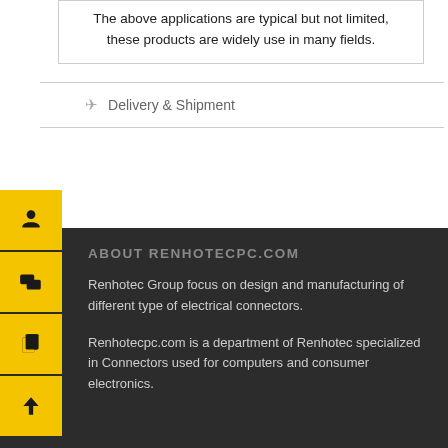The above applications are typical but not limited, these products are widely use in many fields.
Delivery & Shipment
ABOUT RENHOTECPC.COM
Renhotec Group focus on design and manufacturing of different type of electrical connectors.
Renhotecpc.com is a department of Renhotec specialized in Connectors used for computers and consumer electronics.